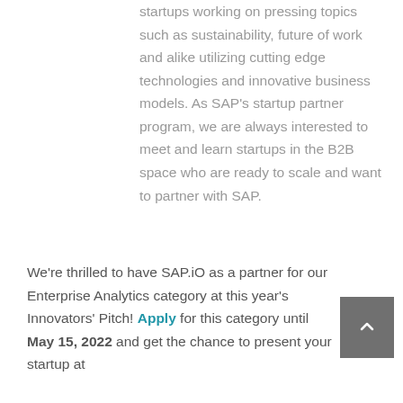startups working on pressing topics such as sustainability, future of work and alike utilizing cutting edge technologies and innovative business models. As SAP's startup partner program, we are always interested to meet and learn startups in the B2B space who are ready to scale and want to partner with SAP.
We're thrilled to have SAP.iO as a partner for our Enterprise Analytics category at this year's Innovators' Pitch! Apply for this category until May 15, 2022 and get the chance to present your startup at